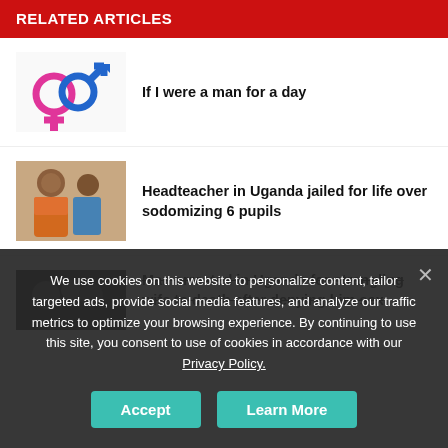RELATED ARTICLES
If I were a man for a day
Headteacher in Uganda jailed for life over sodomizing 6 pupils
Man arrested in Uganda for strangling wife to death after denying him sex
We use cookies on this website to personalize content, tailor targeted ads, provide social media features, and analyze our traffic metrics to optimize your browsing experience. By continuing to use this site, you consent to use of cookies in accordance with our Privacy Policy.